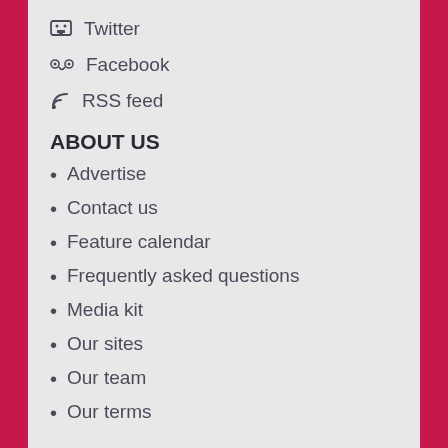Twitter
Facebook
RSS feed
ABOUT US
Advertise
Contact us
Feature calendar
Frequently asked questions
Media kit
Our sites
Our team
Our terms